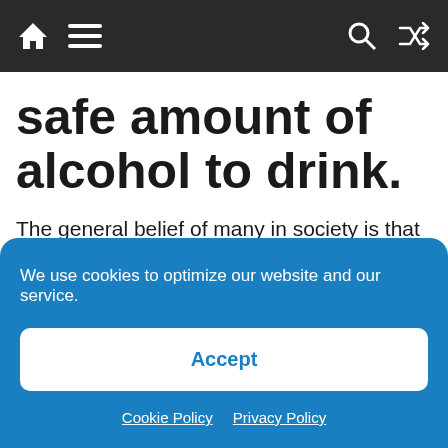Navigation bar with home, menu, search, and shuffle icons
safe amount of alcohol to drink.
The general belief of many in society is that drinking alcohol in moderation has no negative health effects, and may even have a positive effect on one’s well being. But the research on this subject is inconclusive, especially as even
We use cookies to optimize our website and our service.
Accept
Cookie Policy   Privacy Policy